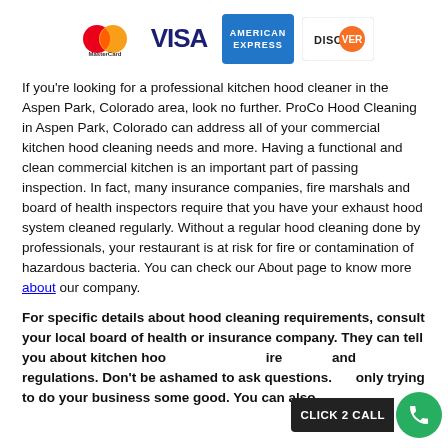[Figure (logo): Payment method logos: MasterCard, VISA, American Express, Discover]
If you're looking for a professional kitchen hood cleaner in the Aspen Park, Colorado area, look no further. ProCo Hood Cleaning in Aspen Park, Colorado can address all of your commercial kitchen hood cleaning needs and more. Having a functional and clean commercial kitchen is an important part of passing inspection. In fact, many insurance companies, fire marshals and board of health inspectors require that you have your exhaust hood system cleaned regularly. Without a regular hood cleaning done by professionals, your restaurant is at risk for fire or contamination of hazardous bacteria. You can check our About page to know more about our company.
For specific details about hood cleaning requirements, consult your local board of health or insurance company. They can tell you about kitchen hood cleaning requirements and regulations. Don't be ashamed to ask questions. We're only trying to do your business some good. You can also